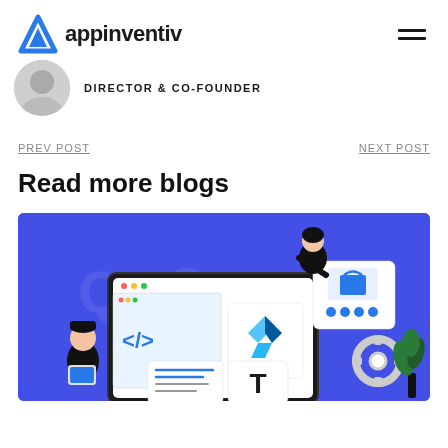appinventiv
DIRECTOR & CO-FOUNDER
PREV POST
NEXT POST
Read more blogs
[Figure (illustration): Blue background illustration showing two people working around a large monitor screen displaying code editor with </> symbol. Screen shows Flutter logo, a text editor card, sliders/controls card, and a letter T card. A gear icon and plant decoration are on the right. Faint Appinventiv logos are in the background.]